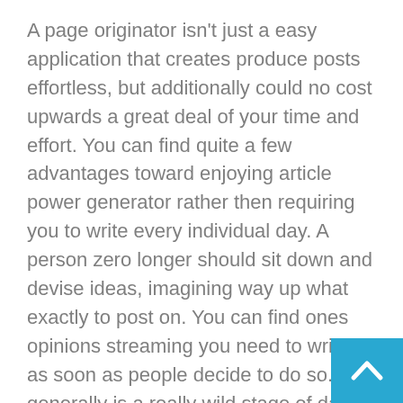A page originator isn't just a easy application that creates produce posts effortless, but additionally could no cost upwards a great deal of your time and effort. You can find quite a few advantages toward enjoying article power generator rather then requiring you to write every individual day. A person zero longer should sit down and devise ideas, imagining way up what exactly to post on. You can find ones opinions streaming you need to writing as soon as people decide to do so. It generally is a really wild stage of day, especially when that you are looking to get labour in addition to run into deadlines.
A page designer is mostly a cpu series or even downloadable software that necessarily produces contents for you from damage. All you need to would be to choose this content theme, press